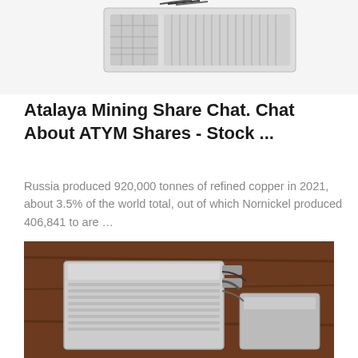[Figure (photo): Top portion of a cryptocurrency mining hardware device (ASIC miner) with fans and heatsink visible, white/grey metallic finish, on white background]
Atalaya Mining Share Chat. Chat About ATYM Shares - Stock ...
Russia produced 920,000 tonnes of refined copper in 2021, about 3.5% of the world total, out of which Nornickel produced 406,841 to are …
[Figure (other): Get Price button - orange rounded rectangle button with white text]
[Figure (photo): Cryptocurrency mining hardware (ASIC miner) placed on a brown wooden surface, showing a grey metallic rectangular device with cables]